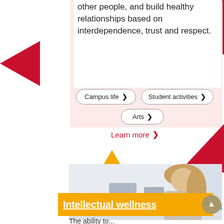other people, and build healthy relationships based on interdependence, trust and respect.
Campus life ❯
Student activities ❯
Arts ❯
Learn more ❯
[Figure (photo): Student working at a laptop in a study area]
Intellectual wellness
The ability to...